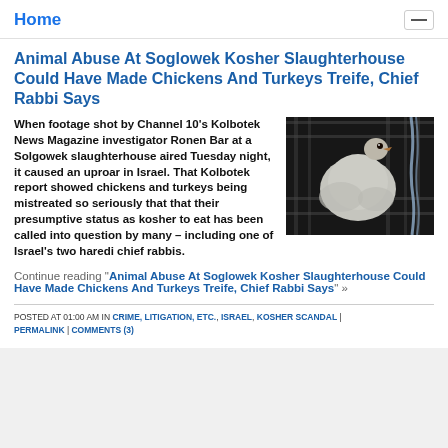Home
Animal Abuse At Soglowek Kosher Slaughterhouse Could Have Made Chickens And Turkeys Treife, Chief Rabbi Says
[Figure (photo): A white chicken or turkey in a cage/crate at a slaughterhouse, viewed through metal bars]
When footage shot by Channel 10's Kolbotek News Magazine investigator Ronen Bar at a Solgowek slaughterhouse aired Tuesday night, it caused an uproar in Israel. That Kolbotek report showed chickens and turkeys being mistreated so seriously that that their presumptive status as kosher to eat has been called into question by many – including one of Israel's two haredi chief rabbis.
Continue reading "Animal Abuse At Soglowek Kosher Slaughterhouse Could Have Made Chickens And Turkeys Treife, Chief Rabbi Says" »
POSTED AT 01:00 AM IN CRIME, LITIGATION, ETC., ISRAEL, KOSHER SCANDAL | PERMALINK | COMMENTS (3)